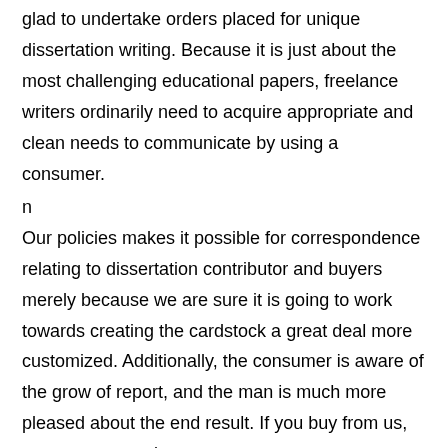glad to undertake orders placed for unique dissertation writing. Because it is just about the most challenging educational papers, freelance writers ordinarily need to acquire appropriate and clean needs to communicate by using a consumer.
n
Our policies makes it possible for correspondence relating to dissertation contributor and buyers merely because we are sure it is going to work towards creating the cardstock a great deal more customized. Additionally, the consumer is aware of the grow of report, and the man is much more pleased about the end result. If you buy from us, you can get a write to your papers to ensure your creator is steering in your correct focus.